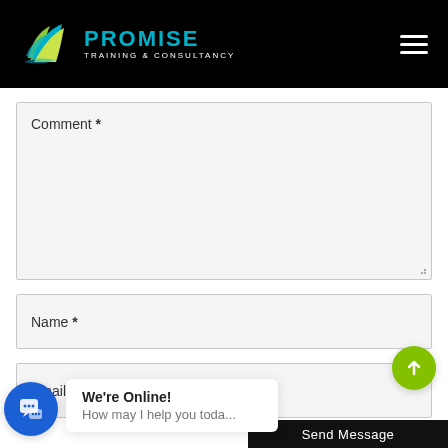[Figure (logo): Promise Training & Consultancy logo with green and blue leaf design on black header bar]
Comment *
Name *
Email *
[Figure (screenshot): We're Online! chat popup bubble with blue chat icon and text 'We're Online! How may I help you toda...']
Send Message